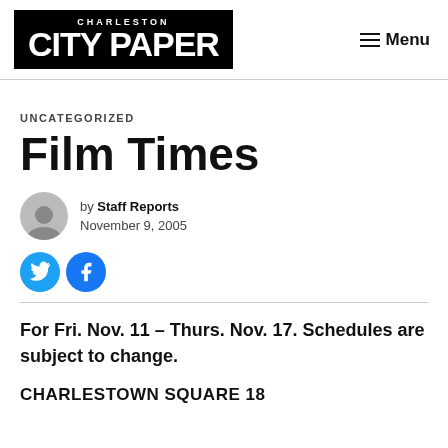CHARLESTON CITY PAPER
UNCATEGORIZED
Film Times
by Staff Reports
November 9, 2005
For Fri. Nov. 11 – Thurs. Nov. 17. Schedules are subject to change.
CHARLESTOWN SQUARE 18